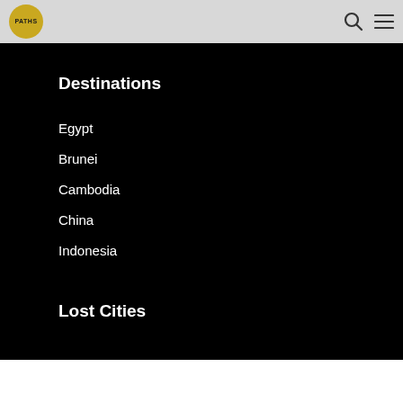PATHS
Destinations
Egypt
Brunei
Cambodia
China
Indonesia
Lost Cities